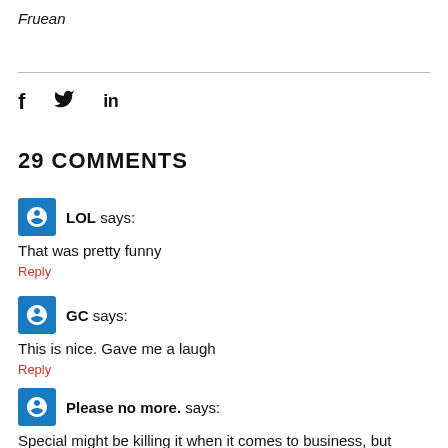Fruean
f  y  in
29 COMMENTS
LOL says:
That was pretty funny
Reply
GC says:
This is nice. Gave me a laugh
Reply
Please no more. says:
Special might be killing it when it comes to business, but